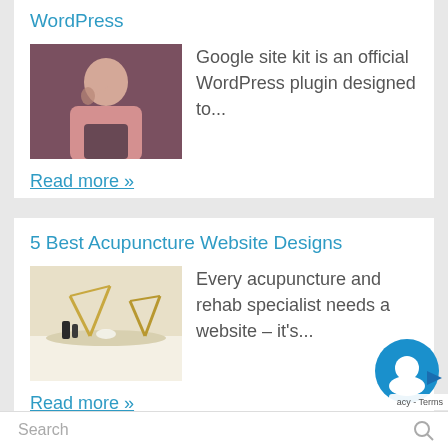WordPress
[Figure (photo): Woman on phone at laptop, WordPress article thumbnail]
Google site kit is an official WordPress plugin designed to...
Read more »
5 Best Acupuncture Website Designs
[Figure (photo): Acupuncture clinic interior with golden decorative items, article thumbnail]
Every acupuncture and rehab specialist needs a website – it's...
Read more »
Search
acy - Terms